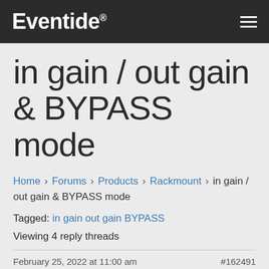Eventide®
in gain / out gain & BYPASS mode
Home › Forums › Products › Rackmount › in gain / out gain & BYPASS mode
Tagged: in gain out gain BYPASS
Viewing 4 reply threads
February 25, 2022 at 11:00 am   #162491